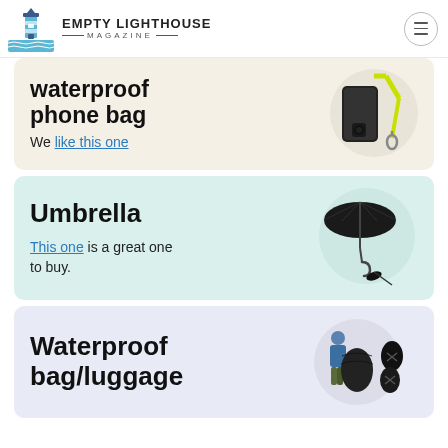EMPTY LIGHTHOUSE MAGAZINE
waterproof phone bag
We like this one
[Figure (photo): Waterproof phone bag with yellow-green strap and clip, dark protective case]
Umbrella
This one is a great one to buy.
[Figure (photo): Black compact folding umbrella, partially open and closed views]
Waterproof bag/luggage
[Figure (photo): Person wearing blue jacket with waterproof backpack cover and separate bag covers]